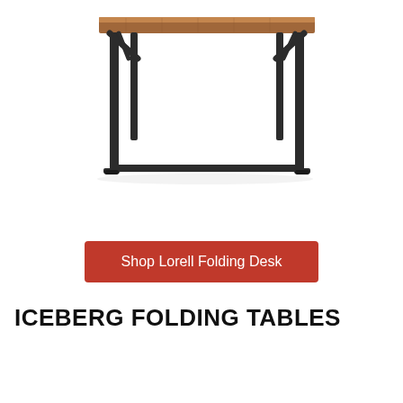[Figure (photo): A folding desk with a walnut/brown wooden tabletop and black metal frame legs, shown on a white background. The desk has an X-brace support at the top of the legs and a rectangular lower crossbar.]
Shop Lorell Folding Desk
ICEBERG FOLDING TABLES